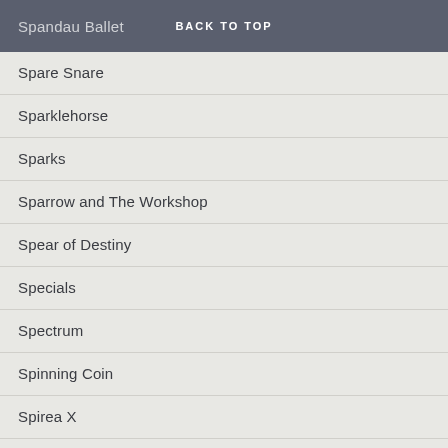Spandau Ballet | BACK TO TOP
Spare Snare
Sparklehorse
Sparks
Sparrow and The Workshop
Spear of Destiny
Specials
Spectrum
Spinning Coin
Spirea X
Spiritualized
Spitfire Boys
Spizzenergi